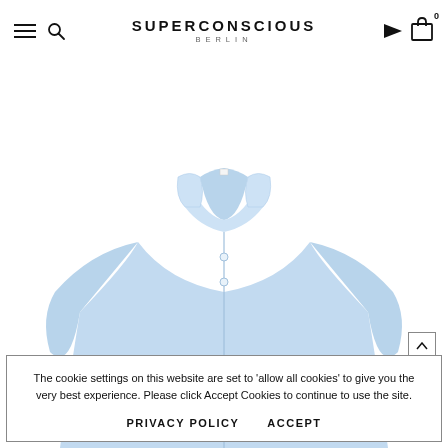SUPERCONSCIOUS BERLIN
[Figure (photo): Light blue oversized button-down shirt photographed on white background, showing collar and upper body of the garment]
The cookie settings on this website are set to 'allow all cookies' to give you the very best experience. Please click Accept Cookies to continue to use the site.
PRIVACY POLICY   ACCEPT